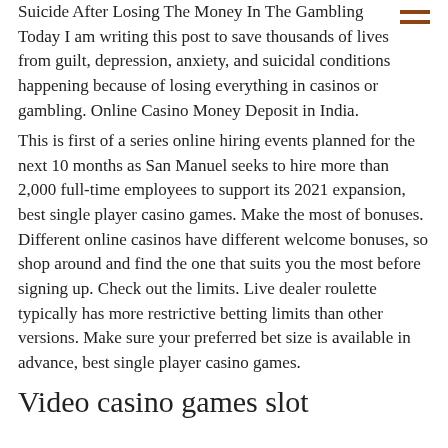Suicide After Losing The Money In The Gambling Today I am writing this post to save thousands of lives from guilt, depression, anxiety, and suicidal conditions happening because of losing everything in casinos or gambling. Online Casino Money Deposit in India.
This is first of a series online hiring events planned for the next 10 months as San Manuel seeks to hire more than 2,000 full-time employees to support its 2021 expansion, best single player casino games. Make the most of bonuses. Different online casinos have different welcome bonuses, so shop around and find the one that suits you the most before signing up. Check out the limits. Live dealer roulette typically has more restrictive betting limits than other versions. Make sure your preferred bet size is available in advance, best single player casino games.
Video casino games slot